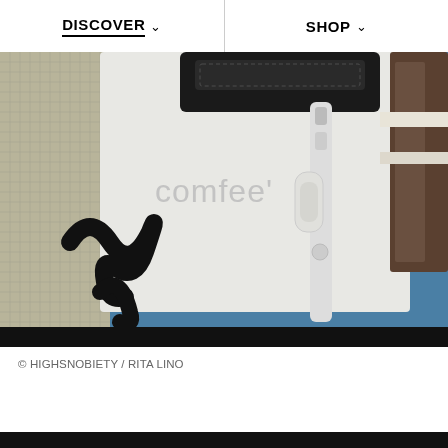DISCOVER ∨   SHOP ∨
[Figure (photo): Close-up photo of a white Comfee appliance/luggage with black leather strap and hoses/cords, with decorative black scrollwork visible on the side, against a blue background]
© HIGHSNOBIETY / RITA LINO